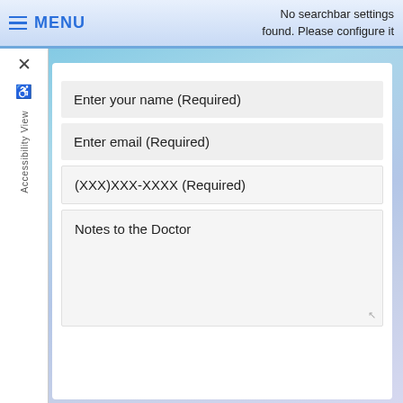MENU | No searchbar settings found. Please configure it
Accessibility View
Enter your name (Required)
Enter email (Required)
(XXX)XXX-XXXX (Required)
Notes to the Doctor